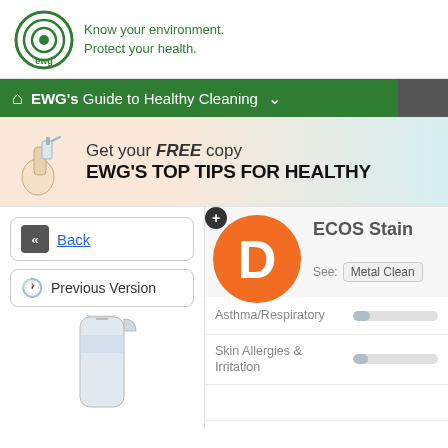[Figure (logo): EWG logo with circular icon and tagline 'Know your environment. Protect your health.']
EWG's Guide to Healthy Cleaning
[Figure (infographic): Promo banner: Get your FREE copy EWG'S TOP TIPS FOR HEALTHY [CLEANING] with hand holding spray bottle illustration]
[Figure (other): Back navigation button with double-left chevron icon]
Back
[Figure (other): Previous Version button with clock icon]
Previous Version
[Figure (photo): Spray bottle product photo]
[Figure (infographic): ECOS Stain product grade D in orange circle with plus button]
ECOS Stain
See: Metal Clean
Asthma/Respiratory
Skin Allergies & Irritation